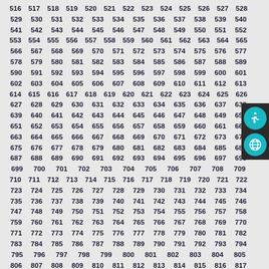516 517 518 519 520 521 522 523 524 525 526 527 528 529 530 531 532 533 534 535 536 537 538 539 540 541 542 543 544 545 546 547 548 549 550 551 552 553 554 555 556 557 558 559 560 561 562 563 564 565 566 567 568 569 570 571 572 573 574 575 576 577 578 579 580 581 582 583 584 585 586 587 588 589 590 591 592 593 594 595 596 597 598 599 600 601 602 603 604 605 606 607 608 609 610 611 612 613 614 615 616 617 618 619 620 621 622 623 624 625 626 627 628 629 630 631 632 633 634 635 636 637 638 639 640 641 642 643 644 645 646 647 648 649 650 651 652 653 654 655 656 657 658 659 660 661 662 663 664 665 666 667 668 669 670 671 672 673 674 675 676 677 678 679 680 681 682 683 684 685 686 687 688 689 690 691 692 693 694 695 696 697 698 699 700 701 702 703 704 705 706 707 708 709 710 711 712 713 714 715 716 717 718 719 720 721 722 723 724 725 726 727 728 729 730 731 732 733 734 735 736 737 738 739 740 741 742 743 744 745 746 747 748 749 750 751 752 753 754 755 756 757 758 759 760 761 762 763 764 765 766 767 768 769 770 771 772 773 774 775 776 777 778 779 780 781 782 783 784 785 786 787 788 789 790 791 792 793 794 795 796 797 798 799 800 801 802 803 804 805 806 807 808 809 810 811 812 813 814 815 816 817